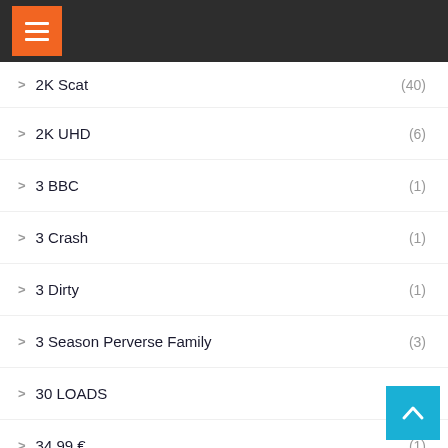Menu header bar
2K Scat (40)
2K UHD (6)
3 BBC (1)
3 Crash (1)
3 Dirty (1)
3 Season Perverse Family (3)
30 LOADS (1)
34.99 € (1)
36.99 € (1)
37.99 € (1)
38.99€ (3)
39.99€ (1)
3D Scat Porn & Scat Cartoons (3)
4 (3)